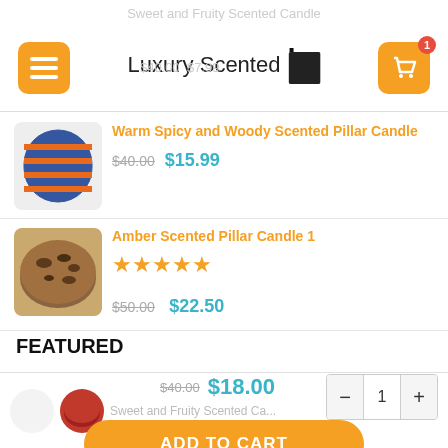Luxury Scented
Sweet and Fruity Scented Candle
$40.00  $7.99
[Figure (photo): Blue and orange striped pillar candle product image]
Warm Spicy and Woody Scented Pillar Candle
$40.00  $15.99
[Figure (photo): Brown amber scented pillar candle product image]
Amber Scented Pillar Candle 1
★★★★★
$50.00  $22.50
FEATURED
Sweet and Fruity Scented Ca...
$40.00  $18.00
- 1 +
ADD TO CART